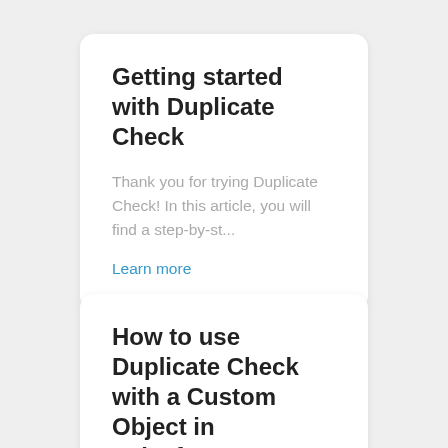Getting started with Duplicate Check
Thank you for trying Duplicate Check! In this article, you will find a step-by-st...
Learn more
How to use Duplicate Check with a Custom Object in Salesforce Lightning